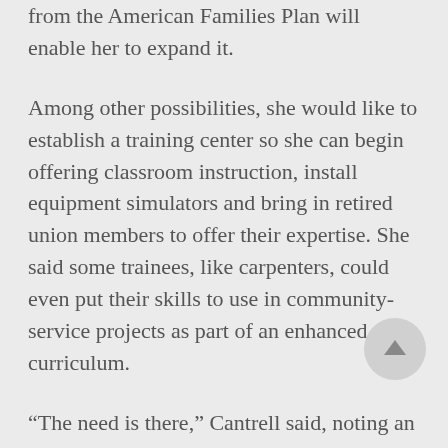from the American Families Plan will enable her to expand it.
Among other possibilities, she would like to establish a training center so she can begin offering classroom instruction, install equipment simulators and bring in retired union members to offer their expertise. She said some trainees, like carpenters, could even put their skills to use in community-service projects as part of an enhanced curriculum.
“The need is there,” Cantrell said, noting an expanded program would enable the local to provide skilled workers for new projects generated